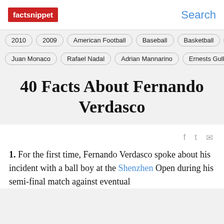factsnippet   Search
2010
2009
American Football
Baseball
Basketball
Book
Juan Monaco
Rafael Nadal
Adrian Mannarino
Ernests Gulbis
40 Facts About Fernando Verdasco
1. For the first time, Fernando Verdasco spoke about his incident with a ball boy at the Shenzhen Open during his semi-final match against eventual